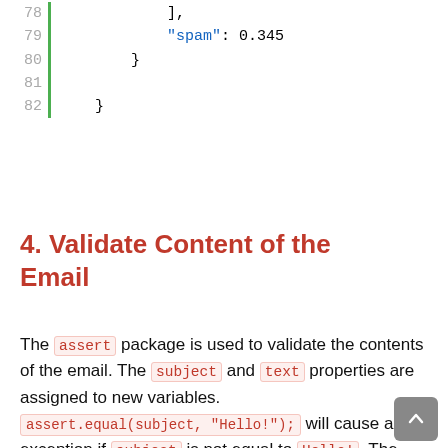[Figure (screenshot): Code snippet lines 78-82 showing JSON-like structure with closing bracket, 'spam': 0.345, and closing braces. Green vertical bar on left side.]
4. Validate Content of the Email
The assert package is used to validate the contents of the email. The subject and text properties are assigned to new variables. assert.equal(subject, "Hello!"); will cause an exception if subject is not equal to Hello!. The test framework Mocha will interpret this as a failure and the test will fail. Likewise, if the variable email_text is not Check out https://example.com the test will fail.